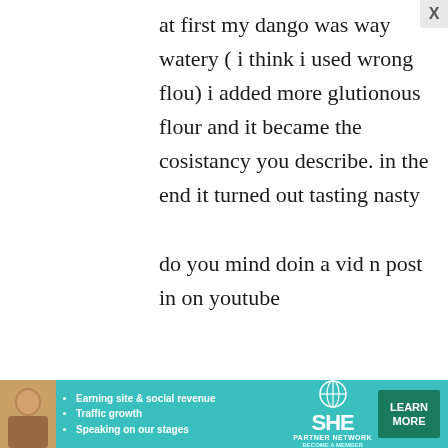at first my dango was way watery ( i think i used wrong flou) i added more glutionous flour and it became the cosistancy you describe. in the end it turned out tasting nasty

do you mind doin a vid n post in on youtube
[Figure (other): Advertisement banner for SHE Partner Network with a woman's photo, bullet points about earning site & social revenue, traffic growth, speaking on our stages, SHE logo, and a Learn More button.]